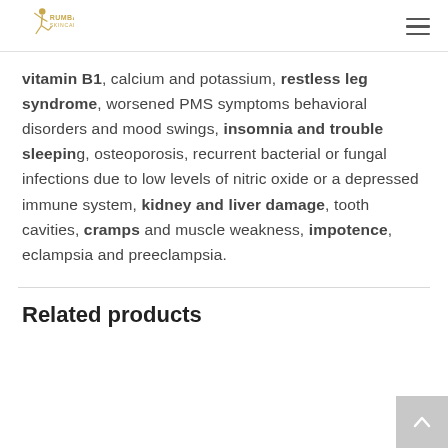Rumba Skincare
vitamin B1, calcium and potassium, restless leg syndrome, worsened PMS symptoms behavioral disorders and mood swings, insomnia and trouble sleeping, osteoporosis, recurrent bacterial or fungal infections due to low levels of nitric oxide or a depressed immune system, kidney and liver damage, tooth cavities, cramps and muscle weakness, impotence, eclampsia and preeclampsia.
Related products